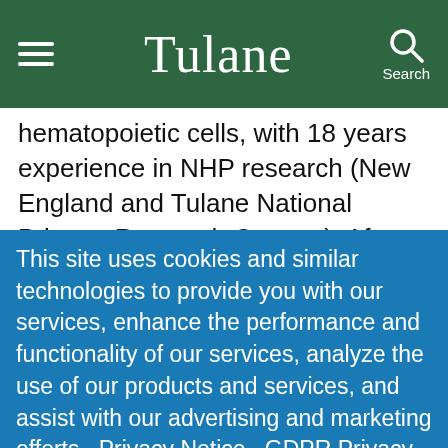Tulane
hematopoietic cells, with 18 years experience in NHP research (New England and Tulane National Primate Research Centers). After developing therapeutic strategies in vitro, we have used immunodeficient mouse models, progressed some to large-scale
This site uses cookies and similar technologies to provide you with our services, enhance the performance and functionality of our services, analyze the use of our products and services, and assist with our advertising and marketing efforts.  Privacy Notice   GDPR Privacy Policy